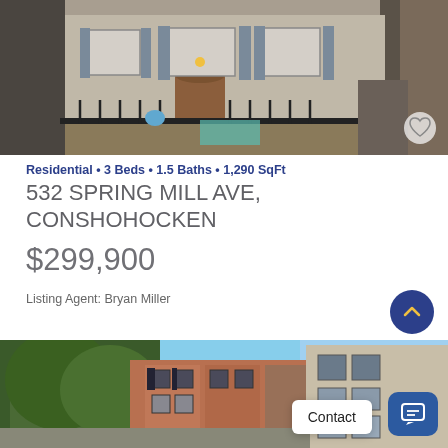[Figure (photo): Exterior photo of a residential row home with white/gray stucco facade, blue shutters, iron fence, and narrow alley on the right side]
Residential • 3 Beds • 1.5 Baths • 1,290 SqFt
532 SPRING MILL AVE, CONSHOHOCKEN
$299,900
Listing Agent: Bryan Miller
[Figure (photo): Street-level photo of brick row homes with trees and blue sky visible in the background]